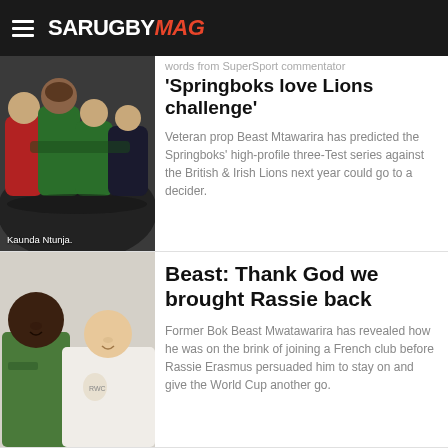[Figure (screenshot): SA Rugby Mag mobile website header with hamburger menu and logo]
words from SuperSport commentator
[Figure (photo): Rugby players in a scrum, Springboks in green jerseys. Caption: Kaunda Ntunja.]
'Springboks love Lions challenge'
Veteran prop Beast Mtawarira has predicted the Springboks' high-profile three-Test series against the British & Irish Lions next year could go to a decider.
[Figure (photo): Two men posing for a photo, one wearing a Springbok tracksuit, one in white.]
Beast: Thank God we brought Rassie back
Former Bok Beast Mwatawarira has revealed how he was on the brink of joining a French club before Rassie Erasmus persuaded him to stay on and give the World Cup another go.
[Figure (infographic): Chery Finance Financial Deals advertisement banner with Tiggo 7 Pro from R5 159 per month]